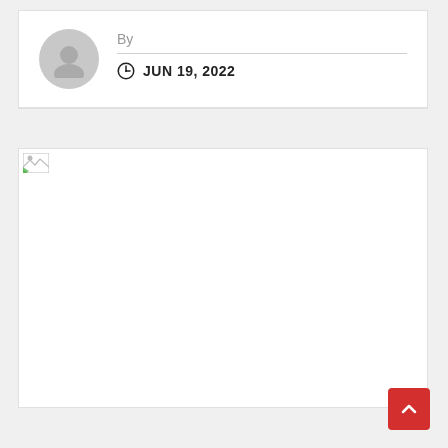By
JUN 19, 2022
[Figure (photo): Broken image placeholder with small icon in upper-left corner]
[Figure (other): Red scroll-to-top button with upward chevron arrow in bottom-right corner]